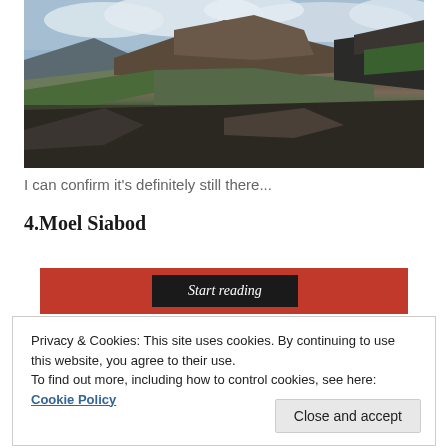[Figure (photo): Panoramic photograph of a mountain landscape with rocky peaks, green slopes, and a cloudy sky. Brown and grey rocky crags visible in the center and right, green hillside on far right.]
I can confirm it's definitely still there...
4.Moel Siabod
[Figure (screenshot): Red banner with a black button labeled 'Start reading' in italic text.]
Privacy & Cookies: This site uses cookies. By continuing to use this website, you agree to their use.
To find out more, including how to control cookies, see here: Cookie Policy
Close and accept